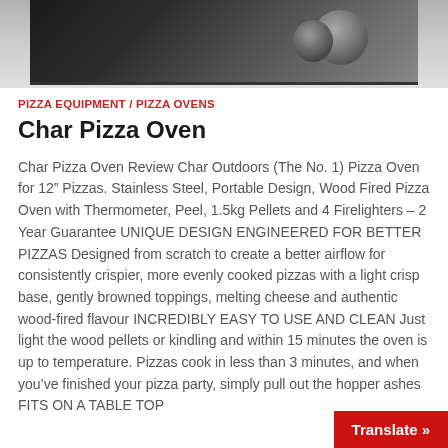[Figure (photo): Partial view of a Char Pizza Oven — a dark stainless steel box with cylindrical chimney/exhaust components visible on the right side, photographed from above at an angle.]
PIZZA EQUIPMENT / PIZZA OVENS
Char Pizza Oven
Char Pizza Oven Review Char Outdoors (The No. 1) Pizza Oven for 12" Pizzas. Stainless Steel, Portable Design, Wood Fired Pizza Oven with Thermometer, Peel, 1.5kg Pellets and 4 Firelighters – 2 Year Guarantee UNIQUE DESIGN ENGINEERED FOR BETTER PIZZAS Designed from scratch to create a better airflow for consistently crispier, more evenly cooked pizzas with a light crisp base, gently browned toppings, melting cheese and authentic wood-fired flavour INCREDIBLY EASY TO USE AND CLEAN Just light the wood pellets or kindling and within 15 minutes the oven is up to temperature. Pizzas cook in less than 3 minutes, and when you've finished your pizza party, simply pull out the hopper ashes FITS ON A TABLE TOP